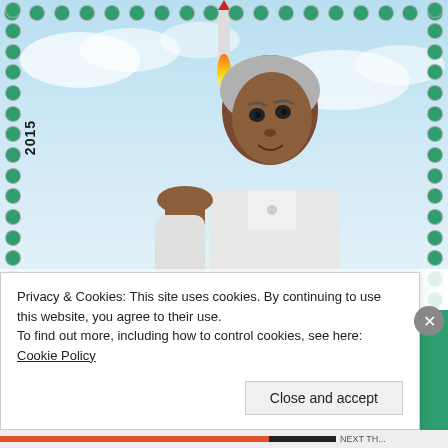[Figure (illustration): Indian postage stamp from 2015 depicting Dr. A.P.J. Abdul Kalam, scientist and former President of India, shown with one hand raised, with a rocket launching in the background against a blue sky. The stamp has green perforations around the border and the year '2015' printed vertically on the left side. Hindi text at the bottom reads 'डॉ ए पी जे अब्दुल कलाम'.]
Privacy & Cookies: This site uses cookies. By continuing to use this website, you agree to their use.
To find out more, including how to control cookies, see here: Cookie Policy
Close and accept